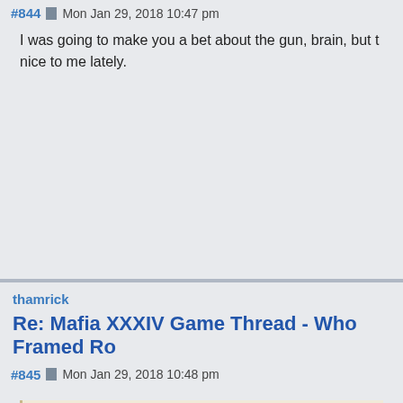#844 Mon Jan 29, 2018 10:47 pm
I was going to make you a bet about the gun, brain, but t nice to me lately.
thamrick
Re: Mafia XXXIV Game Thread - Who Framed Ro
#845 Mon Jan 29, 2018 10:48 pm
““ Tom Bombadil wrote: ↑
You don't even agree with yourself on anything =P
In contention for best post of the game
Tom Bombadil